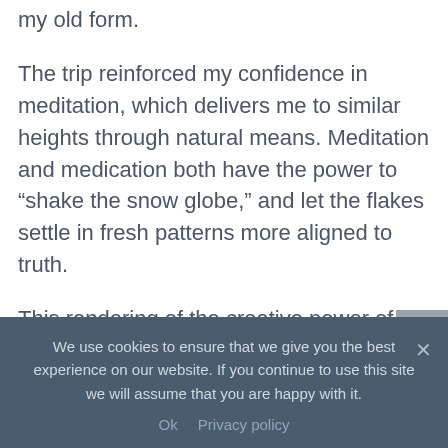my old form.
The trip reinforced my confidence in meditation, which delivers me to similar heights through natural means. Meditation and medication both have the power to “shake the snow globe,” and let the flakes settle in fresh patterns more aligned to truth.
This rendering of the creative power of the mind takes on even more impetus and immediacy when we discover that perception altogether is creation—the topic of our final
We use cookies to ensure that we give you the best experience on our website. If you continue to use this site we will assume that you are happy with it.
Ok   Privacy policy